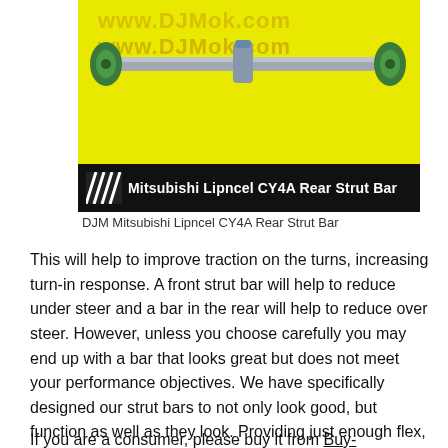[Figure (photo): Photo of DJM Mitsubishi Lipncel CY4A Rear Strut Bar on yellow background with www.DJMok.com watermark and black banner at bottom reading 'Mitsubishi Lipncel CY4A Rear Strut Bar']
DJM Mitsubishi Lipncel CY4A Rear Strut Bar
This will help to improve traction on the turns, increasing turn-in response. A front strut bar will help to reduce under steer and a bar in the rear will help to reduce over steer. However, unless you choose carefully you may end up with a bar that looks great but does not meet your performance objectives. We have specifically designed our strut bars to not only look good, but function as well as they look. Providing just enough flex, without compromising stability.
If you are a consumer, please buy it from Buy- Now DJM Mitsubishi Lipncel CY4A Rear Strut B...